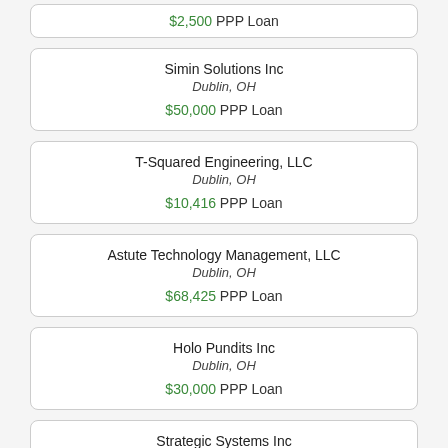$2,500 PPP Loan
Simin Solutions Inc
Dublin, OH
$50,000 PPP Loan
T-Squared Engineering, LLC
Dublin, OH
$10,416 PPP Loan
Astute Technology Management, LLC
Dublin, OH
$68,425 PPP Loan
Holo Pundits Inc
Dublin, OH
$30,000 PPP Loan
Strategic Systems Inc